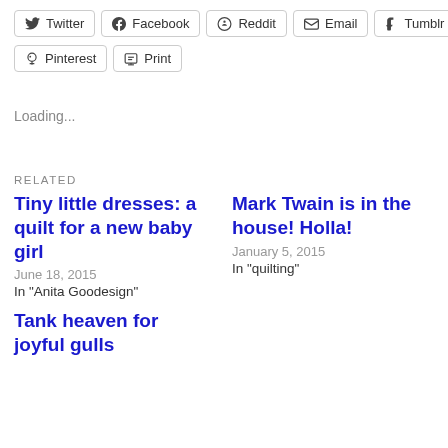Twitter
Facebook
Reddit
Email
Tumblr
Pinterest
Print
Loading...
RELATED
Tiny little dresses: a quilt for a new baby girl
June 18, 2015
In "Anita Goodesign"
Mark Twain is in the house! Holla!
January 5, 2015
In "quilting"
Tank heaven for joyful gulls